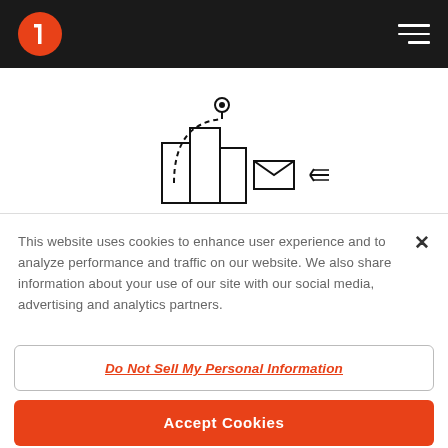Navigation header with logo and hamburger menu
[Figure (illustration): Line art illustration of a building/city with a location pin, dotted path arc, and envelope icon with arrow]
This website uses cookies to enhance user experience and to analyze performance and traffic on our website. We also share information about your use of our site with our social media, advertising and analytics partners.
Do Not Sell My Personal Information
Accept Cookies